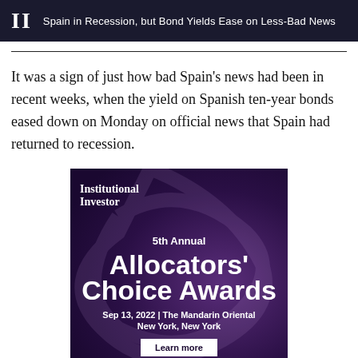II  Spain in Recession, but Bond Yields Ease on Less-Bad News
It was a sign of just how bad Spain's news had been in recent weeks, when the yield on Spanish ten-year bonds eased down on Monday on official news that Spain had returned to recession.
[Figure (illustration): Institutional Investor advertisement for the 5th Annual Allocators' Choice Awards, Sep 13, 2022 | The Mandarin Oriental, New York, New York. Purple background with watermark design. Includes 'Learn more' button.]